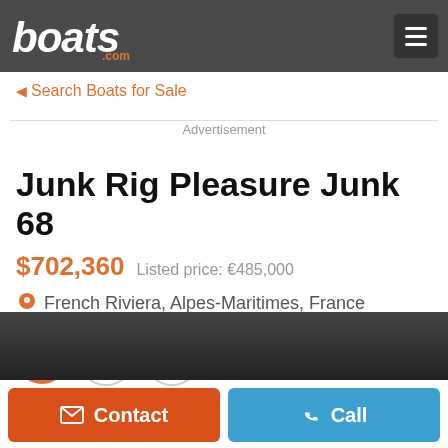boats.com
◀ Search Boats for Sale
Advertisement
Junk Rig Pleasure Junk 68
$702,360   Listed price: €485,000
French Riviera, Alpes-Maritimes, France
Contact   Call